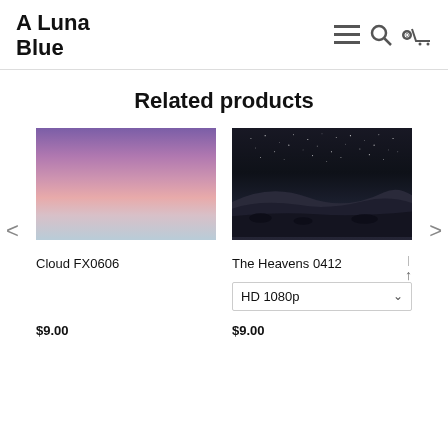A Luna Blue
Related products
[Figure (photo): Purple and pink sunset sky with horizontal cloud bands]
Cloud FX0606
$9.00
[Figure (photo): Night sky over desert sand dunes with stars and crescent moon]
The Heavens 0412
HD 1080p
$9.00